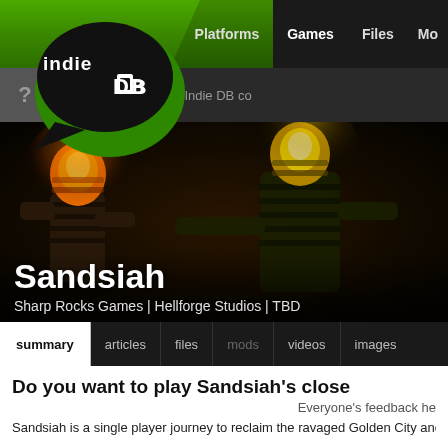Platforms | Games | Files | Mo...
[Figure (logo): Indie DB logo - black speech bubble with white stylized text 'indie DB' on green background]
Hello guest! Join the Indie DB co...
[Figure (photo): Dark atmospheric game banner showing two mummy-like figures in striped bandages with glowing orange heads, in a dark environment with green and orange lighting]
Sandsiah
Sharp Rocks Games | Hellforge Studios | TBD
summary   articles   files   mods   videos   images
Do you want to play Sandsiah's close...
Everyone's feedback he...
Sandsiah is a single player journey to reclaim the ravaged Golden City and pu... many different environments: palaces, temples, factories, prison, mines and m... slightly Arabian inspired culture. Your character, the Fallen King, is a reveng...